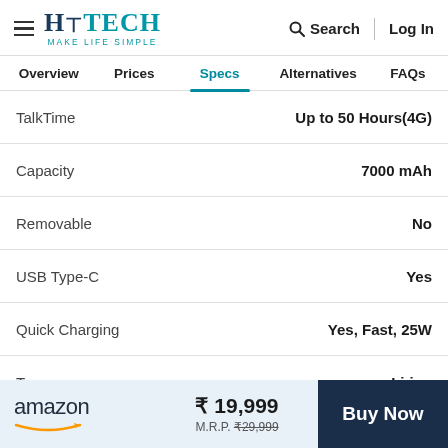HT TECH — MAKE LIFE SIMPLE | Search | Log In
Overview | Prices | Specs | Alternatives | FAQs
| Spec | Value |
| --- | --- |
| TalkTime | Up to 50 Hours(4G) |
| Capacity | 7000 mAh |
| Removable | No |
| USB Type-C | Yes |
| Quick Charging | Yes, Fast, 25W |
| Type | Li-ion |
amazon ₹ 19,999 M.R.P. ₹29,999 Buy Now